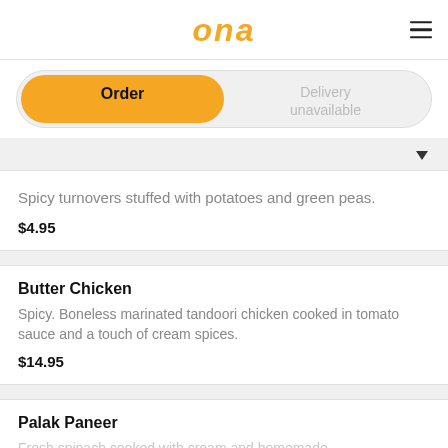ona
Order | Delivery unavailable
Spicy turnovers stuffed with potatoes and green peas.
$4.95
Butter Chicken
Spicy. Boneless marinated tandoori chicken cooked in tomato sauce and a touch of cream spices.
$14.95
Palak Paneer
Fresh spinach cooked with cream and homemade